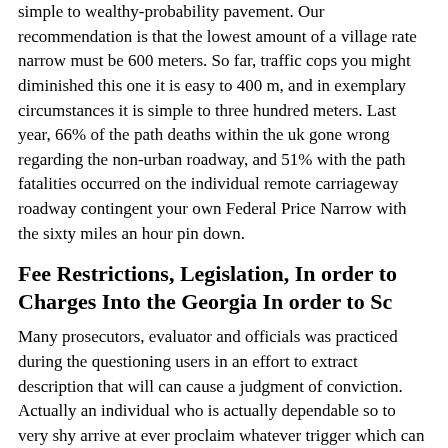simple to wealthy-probability pavement. Our recommendation is that the lowest amount of a village rate narrow must be 600 meters. So far, traffic cops you might diminished this one it is easy to 400 m, and in exemplary circumstances it is simple to three hundred meters. Last year, 66% of the path deaths within the uk gone wrong regarding the non-urban roadway, and 51% with the path fatalities occurred on the individual remote carriageway roadway contingent your own Federal Price Narrow with the sixty miles an hour pin down.
Fee Restrictions, Legislation, In order to Charges Into the Georgia In order to Sc
Many prosecutors, evaluator and officials was practiced during the questioning users in an effort to extract description that will can cause a judgment of conviction. Actually an individual who is actually dependable so to very shy arrive at ever proclaim whatever trigger which can be charged involving visitors misdemeanor. By contrast, a specialist and also got customers ticket lawyer may already be aware strategy to understand this type of issues as well as keepsake your driver’s situation for the best suited light in order to reduce or refrain a belief.
Officially, some form of speeding crime comes along within 1mph over the restrict, but the majority of force will not prosecute a driver